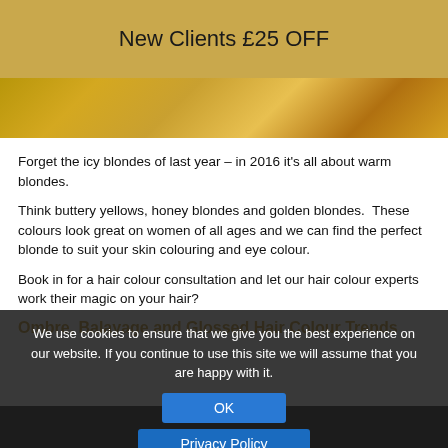New Clients £25 OFF
[Figure (photo): Close-up photo of golden/warm blonde hair with warm golden tones]
Forget the icy blondes of last year – in 2016 it's all about warm blondes.
Think buttery yellows, honey blondes and golden blondes.  These colours look great on women of all ages and we can find the perfect blonde to suit your skin colouring and eye colour.
Book in for a hair colour consultation and let our hair colour experts work their magic on your hair?
We use cookies to ensure that we give you the best experience on our website. If you continue to use this site we will assume that you are happy with it.
Ombre, Balayage and Glossed Hair Colour Trends
[Figure (photo): Photo of hair with ombre/balayage colour treatment, dark roots with lighter ends]